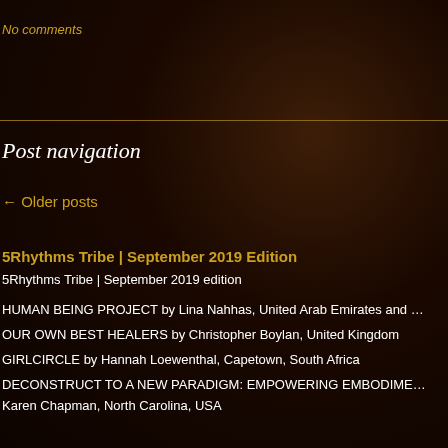No comments
Post navigation
← Older posts
5Rhythms Tribe | September 2019 Edition
5Rhythms Tribe | September 2019 edition
HUMAN BEING PROJECT by Lina Nahhas, United Arab Emirates and …
OUR OWN BEST HEALERS by Christopher Boylan, United Kingdom
GIRLCIRCLE by Hannah Loewenthal, Capetown, South Africa
DECONSTRUCT TO A NEW PARADIGM: EMPOWERING EMBODIME… Karen Chapman, North Carolina, USA